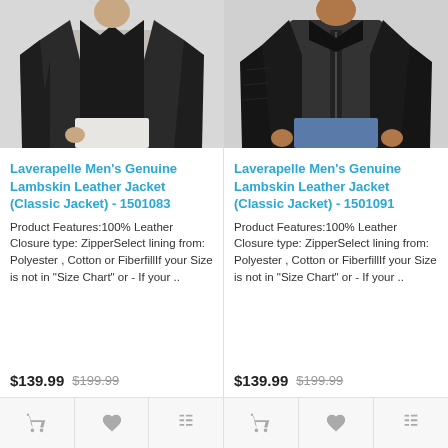[Figure (photo): Man wearing a black lambskin leather jacket, open front showing beige shirt, white pants, cropped at waist level]
Laverapelle Men's Genuine Lambskin Leather Jacket (Classic Jacket) - 1501083
Product Features:100% Leather Closure type: ZipperSelect lining from: Polyester , Cotton or FiberfillIf your Size is not in "Size Chart" or - If your ..
$139.99  $199.99
[Figure (photo): Man wearing a black lambskin leather jacket, zipped up, with jeans, cropped at waist level]
Laverapelle Men's Genuine Lambskin Leather Jacket (Classic Jacket) - 1501091
Product Features:100% Leather Closure type: ZipperSelect lining from: Polyester , Cotton or FiberfillIf your Size is not in "Size Chart" or - If your ..
$139.99  $199.99